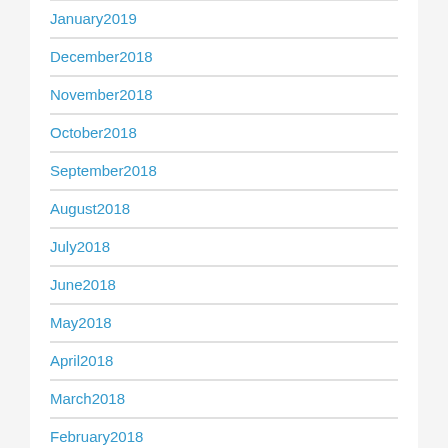January2019
December2018
November2018
October2018
September2018
August2018
July2018
June2018
May2018
April2018
March2018
February2018
January2018
December2017